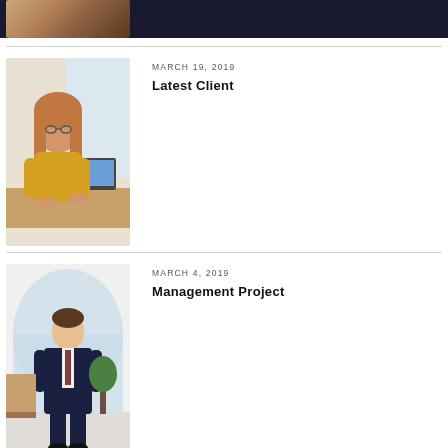[Figure (photo): Partial top bar with dark background and partial image of a desk/office scene]
[Figure (photo): Woman with glasses in yellow top working on a laptop in a bright office]
MARCH 19, 2019
Latest Client
[Figure (photo): Man in dark suit standing in a modern office with arched windows]
MARCH 4, 2019
Management Project
[Figure (photo): Woman with red hair and glasses in a white top in an office setting]
MARCH 1, 2019
Proper Business in your Path